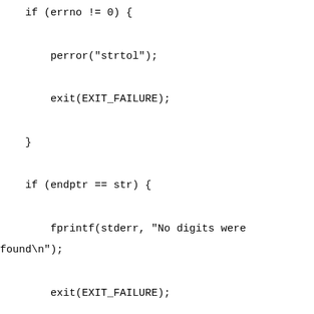if (errno != 0) {

        perror("strtol");

        exit(EXIT_FAILURE);

    }

    if (endptr == str) {

        fprintf(stderr, "No digits were found\n");

        exit(EXIT_FAILURE);

    }